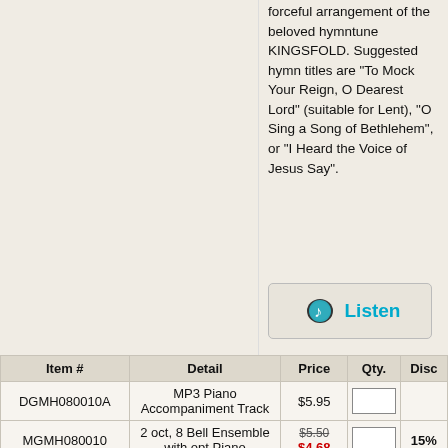forceful arrangement of the beloved hymntune KINGSFOLD. Suggested hymn titles are "To Mock Your Reign, O Dearest Lord" (suitable for Lent), "O Sing a Song of Bethlehem", or "I Heard the Voice of Jesus Say".
[Figure (other): Listen button with musical note icon and cyan 'Listen' text]
| Item # | Detail | Price | Qty. | Disc |
| --- | --- | --- | --- | --- |
| DGMH080010A | MP3 Piano Accompaniment Track | $5.95 |  |  |
| MGMH080010 | 2 oct, 8 Bell Ensemble with opt Piano | $5.50 $4.68 |  | 15% |
| MGMH080010P | Piano Part | $5.95 $5.06 |  | 15% |
|  | AddToCart |  |  |  |